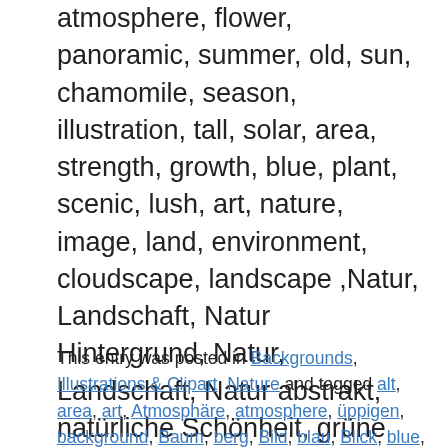atmosphere, flower, panoramic, summer, old, sun, chamomile, season, illustration, tall, solar, area, strength, growth, blue, plant, scenic, lush, art, nature, image, land, environment, cloudscape, landscape ,Natur, Landschaft, Natur Hintergrund, Natur, Landschaft, Natur abstrakt, natürliche Schönheit, grüne Natur, Vektor, Hügel, Baum, Wald, Gras, Grün, Busch, Hintergrund, Feld, Design, Himmel, Farbe, Eiche, outdoor, spring, Blick , Horizont, Berg, Szene, Wiese, Laub, natürlich, Fernbedienung, Fluss, wolken, Atmosphäre, Blume, Panorama, Sommer, alt, Sonne, Kamille, Saison, Illustration, hoch, solar, Fläche, Kraft, Wachstum, blau, Pflanze , landschaftlich, üppigen, Kunst, Natur, Bild-, Land-, Umwelt-, Cloudscape, Landschaft,
This entry was posted in Backgrounds, Illustrations & Clipart, Nature and tagged alt, area, art, Atmosphäre, atmosphere, üppigen, background, Baum, berg, Bild, blau, Blick, blue, Blume, Busch, bush, chamomile, cloud, cloudscape, color, design, Eiche, environment, Farbe, Feld, Fernbedienung, field, Fläche, flower